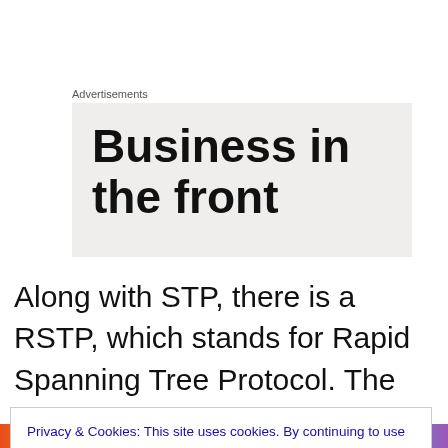Advertisements
[Figure (other): Advertisement box with large bold text reading 'Business in the front']
Along with STP, there is a RSTP, which stands for Rapid Spanning Tree Protocol. The reason for RSTP is that STP converges slowly. Convergence is a process which happens when network topology changes and switches
Privacy & Cookies: This site uses cookies. By continuing to use this website, you agree to their use.
To find out more, including how to control cookies, see here: Cookie Policy
Close and accept